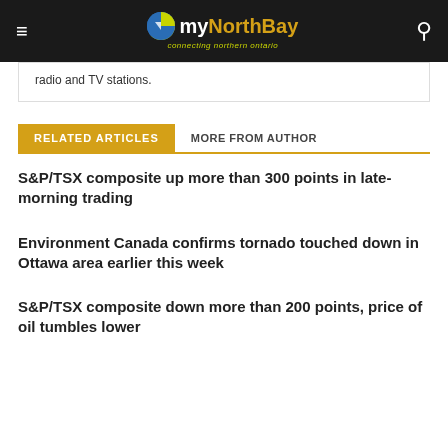my [logo] connecting northern ontario
radio and TV stations.
RELATED ARTICLES   MORE FROM AUTHOR
S&P/TSX composite up more than 300 points in late-morning trading
Environment Canada confirms tornado touched down in Ottawa area earlier this week
S&P/TSX composite down more than 200 points, price of oil tumbles lower